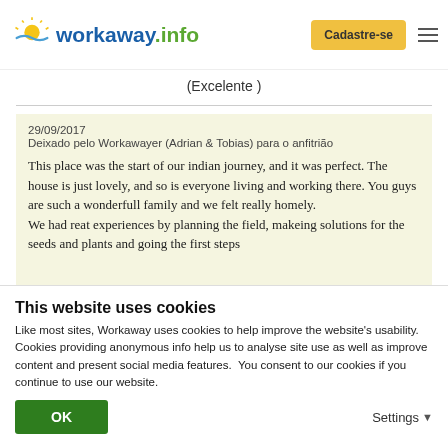workaway.info — Cadastre-se
(Excelente )
29/09/2017
Deixado pelo Workawayer (Adrian & Tobias) para o anfitrião

This place was the start of our indian journey, and it was perfect. The house is just lovely, and so is everyone living and working there. You guys are such a wonderfull family and we felt really homely.
We had reat experiences by planning the field, makeing solutions for the seeds and plants and going the first steps
This website uses cookies
Like most sites, Workaway uses cookies to help improve the website's usability. Cookies providing anonymous info help us to analyse site use as well as improve content and present social media features.  You consent to our cookies if you continue to use our website.
OK    Settings